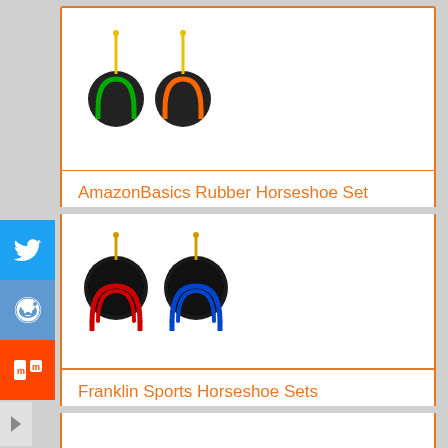[Figure (illustration): Product image of horseshoe set with yellow pins, two round bases visible with arched horseshoes]
AmazonBasics Rubber Horseshoe Set
[Figure (illustration): Product image of AmazonBasics Rubber Horseshoe Set - two black round rubber bases with red and blue arched horseshoes]
Franklin Sports Horseshoe Sets
[Figure (illustration): Product image of Franklin Sports Horseshoe Sets - grey arched horseshoes with two bases]
[Figure (logo): amazon.com logo with orange swoosh arrow]